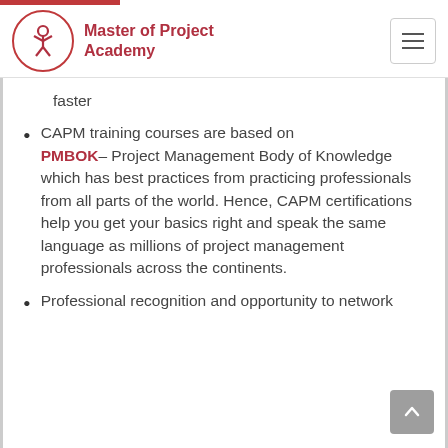Master of Project Academy
faster
CAPM training courses are based on PMBOK– Project Management Body of Knowledge which has best practices from practicing professionals from all parts of the world. Hence, CAPM certifications help you get your basics right and speak the same language as millions of project management professionals across the continents.
Professional recognition and opportunity to network